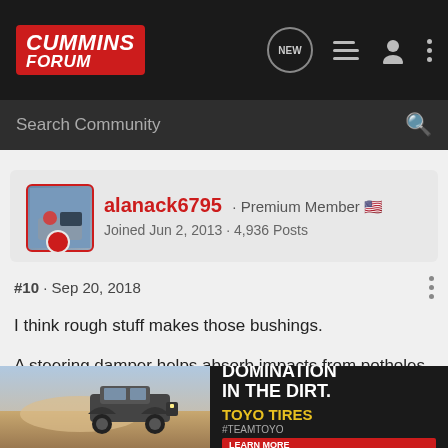Cummins Forum
Search Community
alanack6795 · Premium Member
Joined Jun 2, 2013 · 4,936 Posts
#10 · Sep 20, 2018
I think rough stuff makes those bushings.

A steering damper helps absorb impacts from potholes and prevents the truck from bouncing around off potholes.
It also protects the steering gear.

Steering box brace will also hold the steering box straight and prevent the steering from making the truck to wander.
[Figure (photo): Advertisement banner for Toyo Tires featuring a truck in the dirt with text DOMINATION IN THE DIRT and TOYO TIRES #TEAMTOYO LEARN MORE]